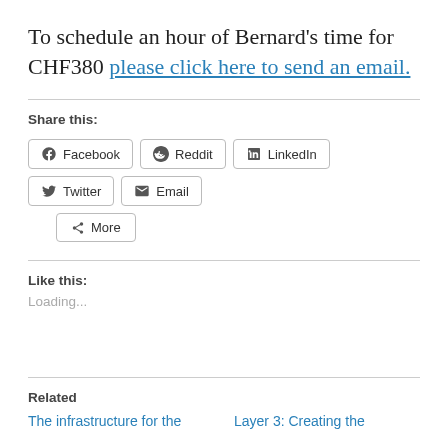To schedule an hour of Bernard's time for CHF380 please click here to send an email.
Share this:
[Figure (screenshot): Social share buttons: Facebook, Reddit, LinkedIn, Twitter, Email, More]
Like this:
Loading...
Related
The infrastructure for the
Layer 3: Creating the